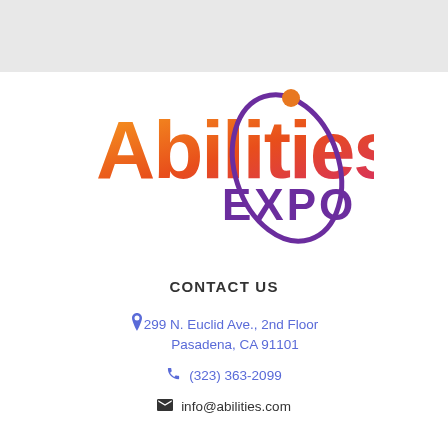[Figure (logo): Abilities Expo logo with orange-to-red gradient text 'Abilities' and purple 'EXPO' text with an orbital ring graphic around the letter 'o']
CONTACT US
299 N. Euclid Ave., 2nd Floor
Pasadena, CA 91101
(323) 363-2099
info@abilities.com